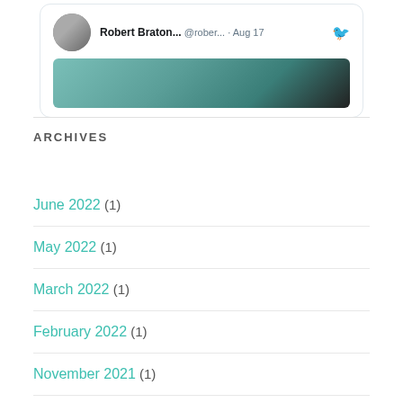[Figure (screenshot): Tweet card showing Robert Braton profile with avatar photo, handle @rober..., date Aug 17, Twitter bird icon, and a partial photo below]
ARCHIVES
June 2022 (1)
May 2022 (1)
March 2022 (1)
February 2022 (1)
November 2021 (1)
September 2021 (1)